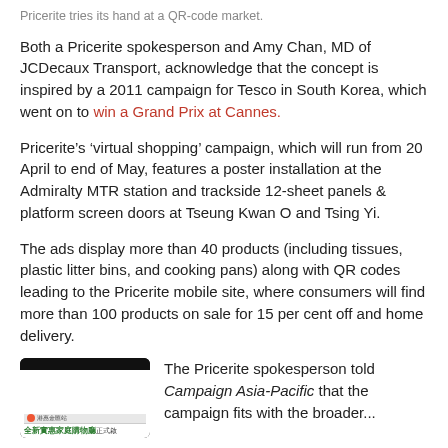Pricerite tries its hand at a QR-code market.
Both a Pricerite spokesperson and Amy Chan, MD of JCDecaux Transport, acknowledge that the concept is inspired by a 2011 campaign for Tesco in South Korea, which went on to win a Grand Prix at Cannes.
Pricerite’s ‘virtual shopping’ campaign, which will run from 20 April to end of May, features a poster installation at the Admiralty MTR station and trackside 12-sheet panels & platform screen doors at Tseung Kwan O and Tsing Yi.
The ads display more than 40 products (including tissues, plastic litter bins, and cooking pans) along with QR codes leading to the Pricerite mobile site, where consumers will find more than 100 products on sale for 15 per cent off and home delivery.
[Figure (screenshot): Screenshot of the Pricerite mobile site displayed on a smartphone, showing Chinese text and green product listings.]
The Pricerite spokesperson told Campaign Asia-Pacific that the campaign fits with the broader...